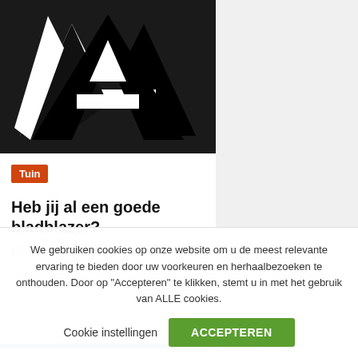[Figure (logo): Large black letter A logo on black background with white geometric negative space forming an A shape with diamond and triangle cutouts]
Tuin
Heb jij al een goede bladblazer?
4 jaren ago  admin
We gebruiken cookies op onze website om u de meest relevante ervaring te bieden door uw voorkeuren en herhaalbezoeken te onthouden. Door op "Accepteren" te klikken, stemt u in met het gebruik van ALLE cookies.
Cookie instellingen   ACCEPTEREN